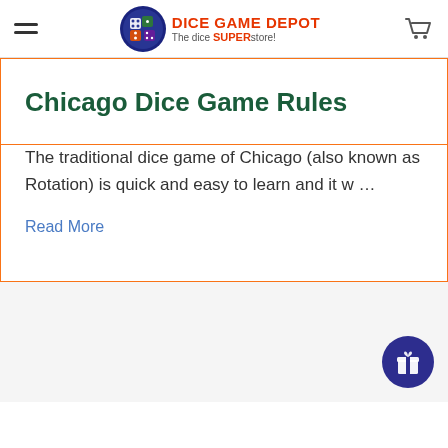DICE GAME DEPOT — The dice SUPERstore!
Chicago Dice Game Rules
The traditional dice game of Chicago (also known as Rotation) is quick and easy to learn and it w …
Read More